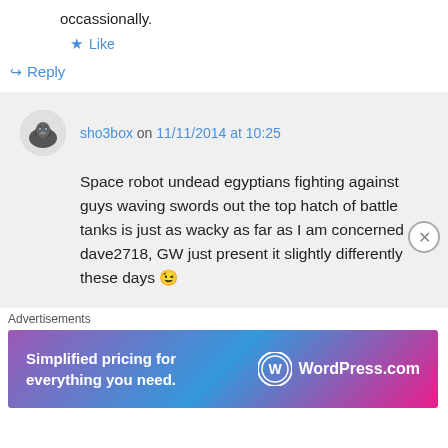occassionally.
★ Like
↪ Reply
sho3box on 11/11/2014 at 10:25
Space robot undead egyptians fighting against guys waving swords out the top hatch of battle tanks is just as wacky as far as I am concerned dave2718, GW just present it slightly differently these days 😉
Advertisements
[Figure (infographic): WordPress.com advertisement banner: 'Simplified pricing for everything you need.' with WordPress.com logo on a purple-blue-pink gradient background.]